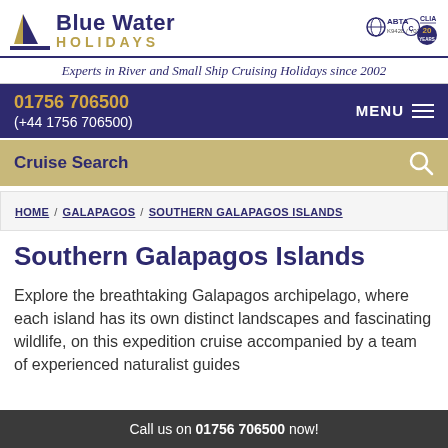[Figure (logo): Blue Water Holidays logo with sailboat graphic, blue and gold text, alongside ABTA K9428/Y0145, CLIA, and 20 Years badges]
Experts in River and Small Ship Cruising Holidays since 2002
01756 706500
(+44 1756 706500)
MENU
Cruise Search
HOME / GALAPAGOS / SOUTHERN GALAPAGOS ISLANDS
Southern Galapagos Islands
Explore the breathtaking Galapagos archipelago, where each island has its own distinct landscapes and fascinating wildlife, on this expedition cruise accompanied by a team of experienced naturalist guides
Call us on 01756 706500 now!